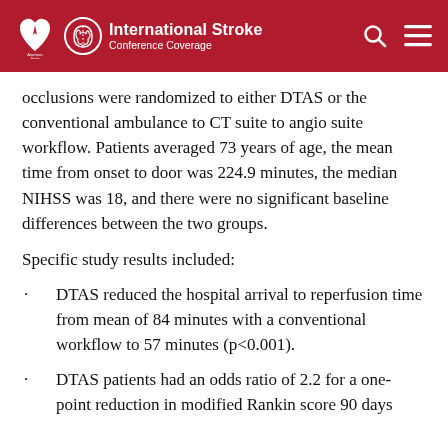International Stroke Conference Coverage
occlusions were randomized to either DTAS or the conventional ambulance to CT suite to angio suite workflow. Patients averaged 73 years of age, the mean time from onset to door was 224.9 minutes, the median NIHSS was 18, and there were no significant baseline differences between the two groups.
Specific study results included:
DTAS reduced the hospital arrival to reperfusion time from mean of 84 minutes with a conventional workflow to 57 minutes (p<0.001).
DTAS patients had an odds ratio of 2.2 for a one-point reduction in modified Rankin score 90 days